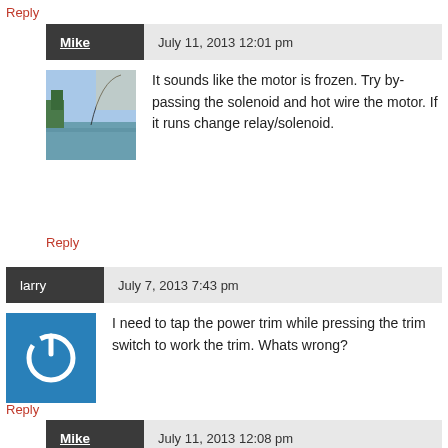Reply
Mike  July 11, 2013 12:01 pm
It sounds like the motor is frozen. Try by-passing the solenoid and hot wire the motor. If it runs change relay/solenoid.
Reply
larry  July 7, 2013 7:43 pm
I need to tap the power trim while pressing the trim switch to work the trim. Whats wrong?
Reply
Mike  July 11, 2013 12:08 pm